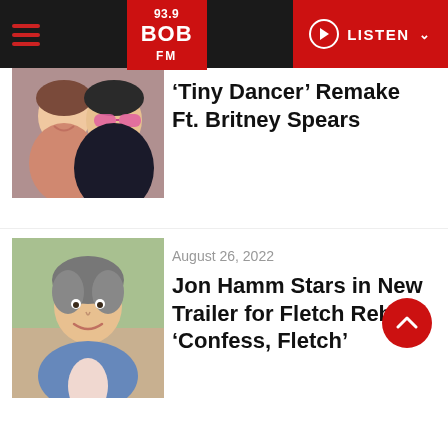93.9 BOB FM — LISTEN
[Figure (photo): Photo of two people — a woman and a man with pink sunglasses, likely Britney Spears and Elton John]
'Tiny Dancer' Remake Ft. Britney Spears
[Figure (photo): Photo of Jon Hamm smiling, wearing a blue blazer]
August 26, 2022
Jon Hamm Stars in New Trailer for Fletch Reboot 'Confess, Fletch'